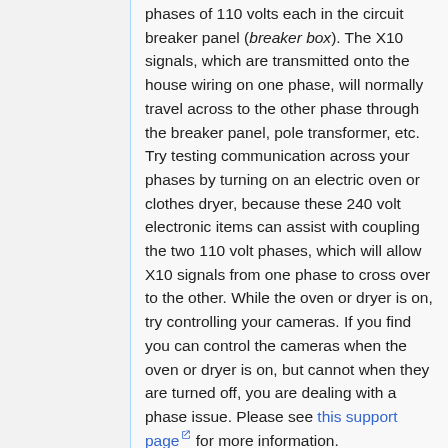phases of 110 volts each in the circuit breaker panel (breaker box). The X10 signals, which are transmitted onto the house wiring on one phase, will normally travel across to the other phase through the breaker panel, pole transformer, etc. Try testing communication across your phases by turning on an electric oven or clothes dryer, because these 240 volt electronic items can assist with coupling the two 110 volt phases, which will allow X10 signals from one phase to cross over to the other. While the oven or dryer is on, try controlling your cameras. If you find you can control the cameras when the oven or dryer is on, but cannot when they are turned off, you are dealing with a phase issue. Please see this support page for more information.
To correct a phase problem, you can